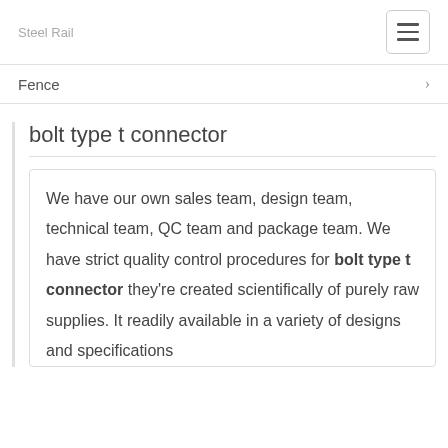Steel Rail
Fence
bolt type t connector
We have our own sales team, design team, technical team, QC team and package team. We have strict quality control procedures for bolt type t connector they're created scientifically of purely raw supplies. It readily available in a variety of designs and specifications